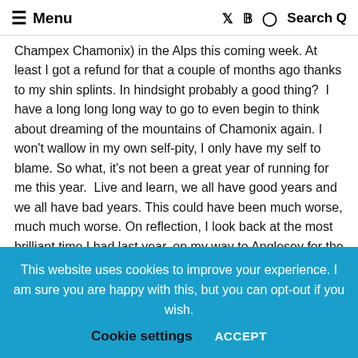≡ Menu  [Twitter] [Facebook] [Instagram]  Search Q
Champex Chamonix) in the Alps this coming week. At least I got a refund for that a couple of months ago thanks to my shin splints. In hindsight probably a good thing?  I have a long long long way to go to even begin to think about dreaming of the mountains of Chamonix again. I won't wallow in my own self-pity, I only have my self to blame. So what, it's not been a great year of running for me this year.  Live and learn, we all have good years and we all have bad years. This could have been much worse, much much worse. On reflection, I look back at the most brilliant time I had last year, on my way to Anglesey for the Ring O'Fire Ultramarathon for which I completed successfully uninjured and very very happy. ↑
This website uses cookies to improve your experience. I am sure you are happy with this, but you can opt-out if you wish.  Cookie settings  ACCEPT